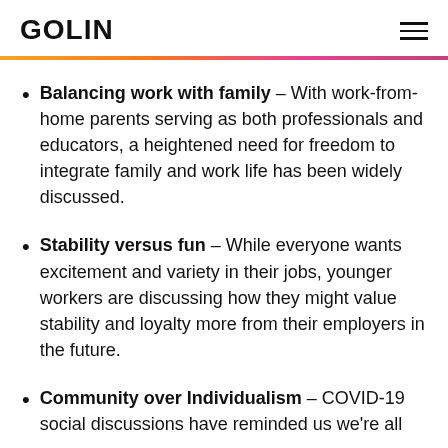GOLIN
Balancing work with family – With work-from-home parents serving as both professionals and educators, a heightened need for freedom to integrate family and work life has been widely discussed.
Stability versus fun – While everyone wants excitement and variety in their jobs, younger workers are discussing how they might value stability and loyalty more from their employers in the future.
Community over Individualism – COVID-19 social discussions have reminded us we're all